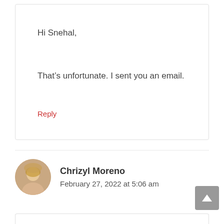Hi Snehal,
That’s unfortunate. I sent you an email.
Reply
Chrizyl Moreno
February 27, 2022 at 5:06 am